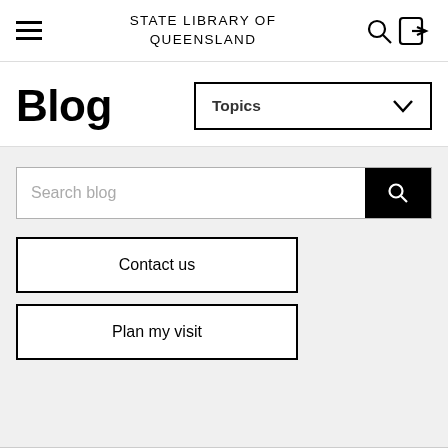STATE LIBRARY OF QUEENSLAND
Blog
Topics
Search blog
Contact us
Plan my visit